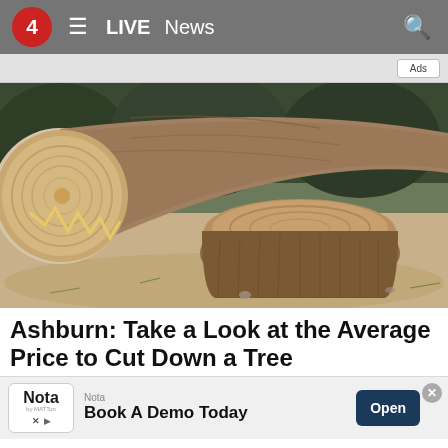4  LIVE  News
[Figure (photo): Photo of a cut tree trunk and tree stump on sandy ground with pine needles. The large log shows fresh cut wood grain on the left. A tree stump sits in the center foreground. Dark green foliage visible in the background.]
Ashburn: Take a Look at the Average Price to Cut Down a Tree
Tree Remo...
[Figure (logo): Nota app advertisement banner: Nota logo, text 'Book A Demo Today', Open button, close button]